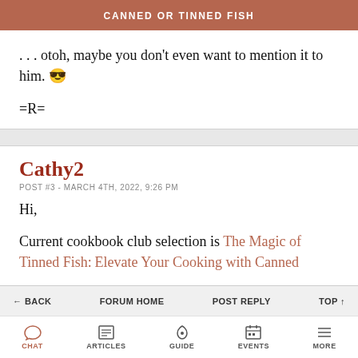CANNED OR TINNED FISH
. . . otoh, maybe you don't even want to mention it to him. 😎
=R=
Cathy2
POST #3 - MARCH 4TH, 2022, 9:26 PM
Hi,
Current cookbook club selection is The Magic of Tinned Fish:Elevate Your Cooking with Canned
← BACK   FORUM HOME   POST REPLY   TOP ↑
CHAT   ARTICLES   GUIDE   EVENTS   MORE